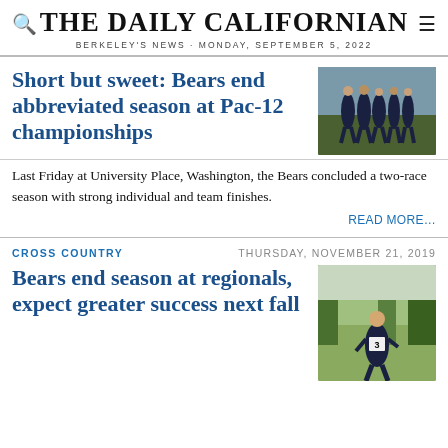THE DAILY CALIFORNIAN
BERKELEY'S NEWS · MONDAY, SEPTEMBER 5, 2022
Short but sweet: Bears end abbreviated season at Pac-12 championships
[Figure (photo): Group of cross country runners in dark uniforms gathered together outdoors]
Last Friday at University Place, Washington, the Bears concluded a two-race season with strong individual and team finishes.
READ MORE…
CROSS COUNTRY
THURSDAY, NOVEMBER 21, 2019
Bears end season at regionals, expect greater success next fall
[Figure (photo): A cross country runner wearing bib number 3 running outdoors with trees in background]